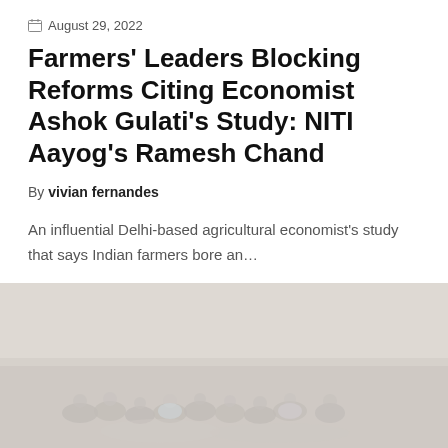August 29, 2022
Farmers' Leaders Blocking Reforms Citing Economist Ashok Gulati's Study: NITI Aayog's Ramesh Chand
By vivian fernandes
An influential Delhi-based agricultural economist's study that says Indian farmers bore an...
0  0  0  Share
[Figure (photo): Group of farmers sitting together outdoors on the ground, faded/light-toned photo]